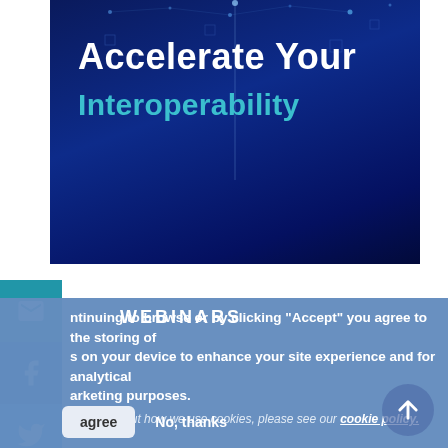[Figure (screenshot): Dark blue hero banner with glowing tech dots/nodes pattern. White bold text 'Accelerate Your' and teal/cyan text 'Interoperability' below.]
Accelerate Your
Interoperability
WEBINARS
ntinuing to browse or by clicking “Accept” you agree to the storing of s on your device to enhance your site experience and for analytical arketing purposes.
n more about how we use cookies, please see our cookie policy.
agree
No, thanks